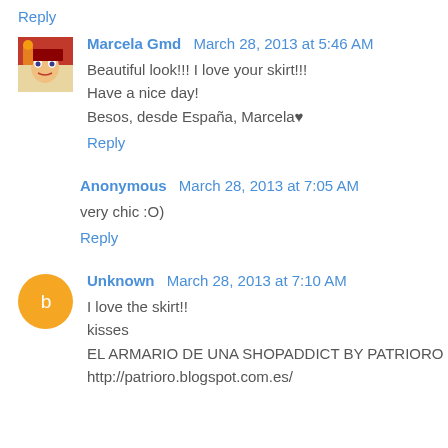Reply
Marcela Gmd  March 28, 2013 at 5:46 AM
Beautiful look!!! I love your skirt!!!
Have a nice day!
Besos, desde España, Marcela♥
Reply
Anonymous  March 28, 2013 at 7:05 AM
very chic :O)
Reply
Unknown  March 28, 2013 at 7:10 AM
I love the skirt!!
kisses
EL ARMARIO DE UNA SHOPADDICT BY PATRIORO
http://patrioro.blogspot.com.es/